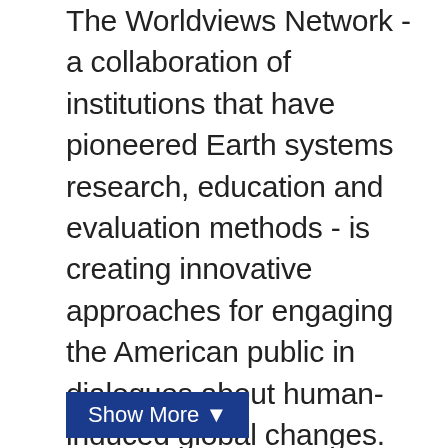The Worldviews Network - a collaboration of institutions that have pioneered Earth systems research, education and evaluation methods - is creating innovative approaches for engaging the American public in dialogues about human-induced global changes. Leveraging the power of immersive scientific visualization environments at informal science centers across the US, we are developing transformative educational processes that integrate the benefits of visual thinking, systems thinking, and design thinking.
Show More ▼